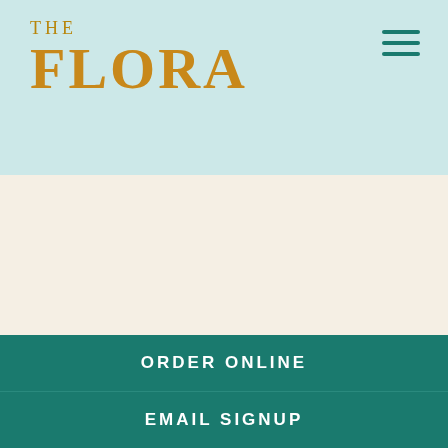THE FLORA
[Figure (other): Hamburger menu icon (three horizontal teal lines) in upper right corner of header]
ORDER ONLINE
EMAIL SIGNUP